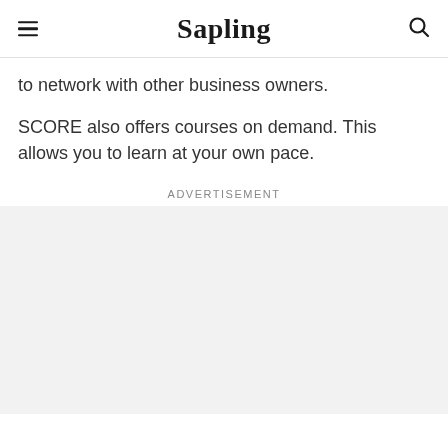Sapling
to network with other business owners.
SCORE also offers courses on demand. This allows you to learn at your own pace.
Advertisement